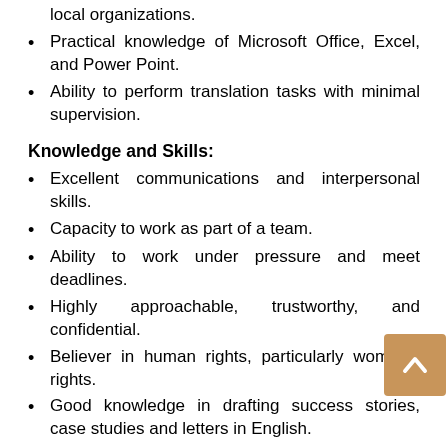local organizations.
Practical knowledge of Microsoft Office, Excel, and Power Point.
Ability to perform translation tasks with minimal supervision.
Knowledge and Skills:
Excellent communications and interpersonal skills.
Capacity to work as part of a team.
Ability to work under pressure and meet deadlines.
Highly approachable, trustworthy, and confidential.
Believer in human rights, particularly women's rights.
Good knowledge in drafting success stories, case studies and letters in English.
Interested applicants may get online Job Application form from this link
https://ee.humanitarianresponse.info/x/USgRgLFA